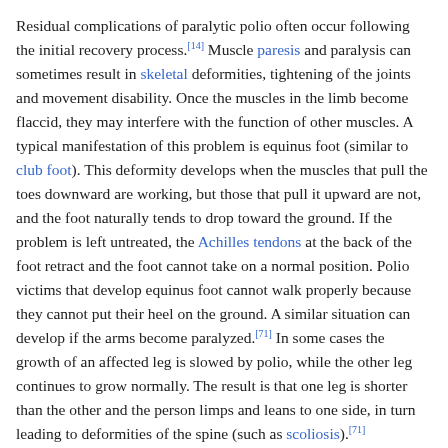Residual complications of paralytic polio often occur following the initial recovery process.[14] Muscle paresis and paralysis can sometimes result in skeletal deformities, tightening of the joints and movement disability. Once the muscles in the limb become flaccid, they may interfere with the function of other muscles. A typical manifestation of this problem is equinus foot (similar to club foot). This deformity develops when the muscles that pull the toes downward are working, but those that pull it upward are not, and the foot naturally tends to drop toward the ground. If the problem is left untreated, the Achilles tendons at the back of the foot retract and the foot cannot take on a normal position. Polio victims that develop equinus foot cannot walk properly because they cannot put their heel on the ground. A similar situation can develop if the arms become paralyzed.[71] In some cases the growth of an affected leg is slowed by polio, while the other leg continues to grow normally. The result is that one leg is shorter than the other and the person limps and leans to one side, in turn leading to deformities of the spine (such as scoliosis).[71] Osteoporosis and increased likelihood of bone fractures may occur. An intervention to prevent or lessen length disparity can be to perform an epiphysiodesis on the distal